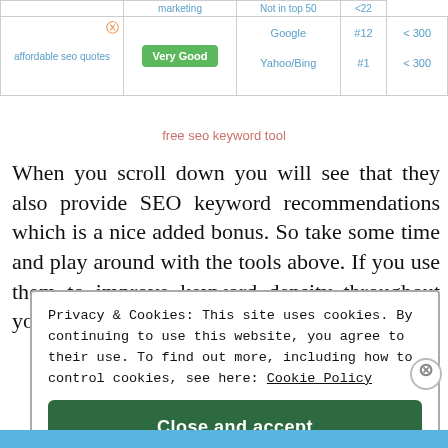| Keyword | Status | Search Engine | Ranking | Volume |
| --- | --- | --- | --- | --- |
| affordable seo quotes | Very Good | Google | #12 | < 300 |
| affordable seo quotes | Very Good | Yahoo/Bing | #1 | < 300 |
free seo keyword tool
When you scroll down you will see that they also provide SEO keyword recommendations which is a nice added bonus. So take some time and play around with the tools above. If you use them to improve keyword density throughout your articles
Privacy & Cookies: This site uses cookies. By continuing to use this website, you agree to their use. To find out more, including how to control cookies, see here: Cookie Policy

Close and accept